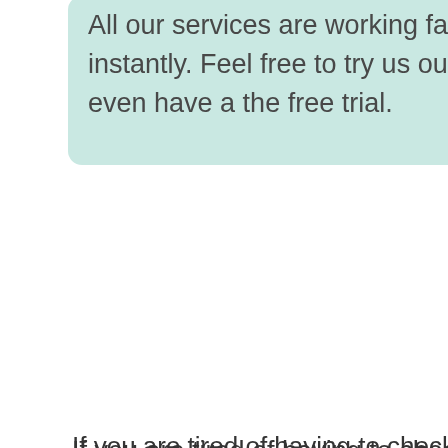All our services are working fast and instantly. Feel free to try us out , we even have a the free trial.
If you are tired of having to check the weather condition each time you leave the house then you will know it is time to have a weather station.◆ Many people wonder why they need a station when they can absolutely get to know the weather condition from their TV stations.◆ What then does that mean?◆ That means having to seat in front